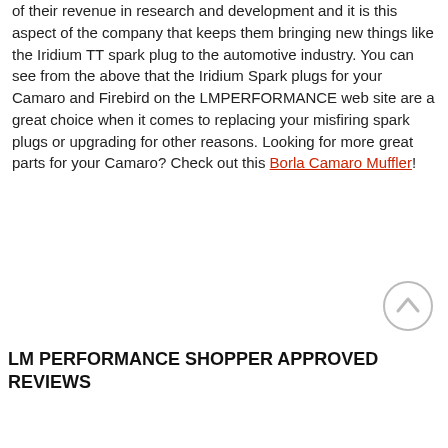of their revenue in research and development and it is this aspect of the company that keeps them bringing new things like the Iridium TT spark plug to the automotive industry. You can see from the above that the Iridium Spark plugs for your Camaro and Firebird on the LMPERFORMANCE web site are a great choice when it comes to replacing your misfiring spark plugs or upgrading for other reasons. Looking for more great parts for your Camaro? Check out this Borla Camaro Muffler!
[Figure (other): Back to top button — circular arrow-up icon]
LM PERFORMANCE SHOPPER APPROVED REVIEWS
[Figure (bar-chart): Partial rating chart showing green 4.8 rating box and horizontal bar chart for 5 Star (12,2K) and 4 Star (1760)]